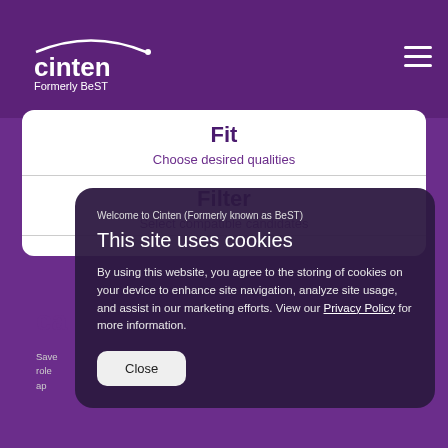[Figure (logo): Cinten logo with arc graphic and 'Formerly BeST' subtitle in white on purple header]
Fit
Choose desired qualities
Filter
Select compatible candidates
Welcome to Cinten (Formerly known as BeST)
This site uses cookies
By using this website, you agree to the storing of cookies on your device to enhance site navigation, analyze site usage, and assist in our marketing efforts. View our Privacy Policy for more information.
Close